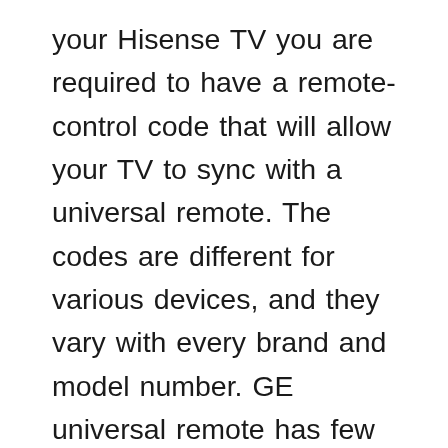your Hisense TV you are required to have a remote-control code that will allow your TV to sync with a universal remote. The codes are different for various devices, and they vary with every brand and model number. GE universal remote has few specific codes that only work with Hisense Roku TV. Your Hisense TV requires 4 digits codes to get connected with the GE remote and enjoy your TV time. Although it's not necessary to use code for programming the remote, you can also